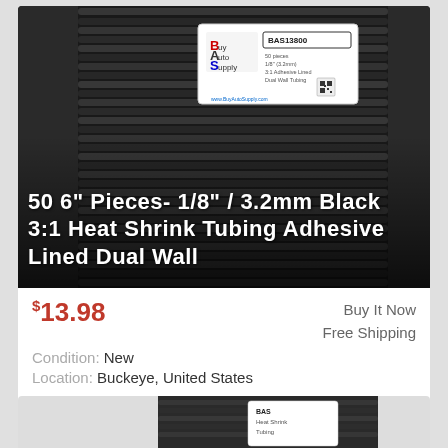[Figure (photo): Coiled black heat shrink tubing bundle with Buy Auto Supply label (BAS13800) on top, on a gray background]
50 6" Pieces- 1/8" / 3.2mm Black 3:1 Heat Shrink Tubing Adhesive Lined Dual Wall
$13.98
Buy It Now
Free Shipping
Condition: New
Location: Buckeye, United States
1/8" 3:1 Dual Wall Heat Shrink Tubing - 6 Inch Sections Part # BAS13800 - 50 Pack Adhesive Lined Dual Wall I.D Before Shrink - 1/8" (3.2mm) - Round I.D ... more
[Figure (photo): Partial view of another heat shrink tubing product at the bottom of the page]